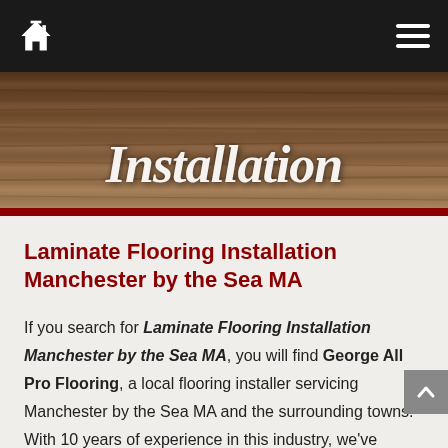Navigation bar with home icon and hamburger menu
[Figure (photo): Wood flooring texture background with 'Installation' text overlaid in white italic script]
Laminate Flooring Installation Manchester by the Sea MA
If you search for Laminate Flooring Installation Manchester by the Sea MA, you will find George All Pro Flooring, a local flooring installer servicing Manchester by the Sea MA and the surrounding towns. With 10 years of experience in this industry, we've